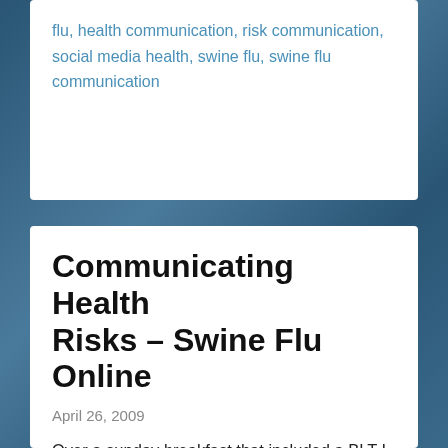flu, health communication, risk communication, social media health, swine flu, swine flu communication
Communicating Health Risks – Swine Flu Online
April 26, 2009
Over a sunday breakfast that included a BLT I opened the papers to read about the outbreaks of Swine Flu. Over the course of the day it was clear that this flu was spreading and discussion online ramped up. Swine Flu received its own Hash Tag on